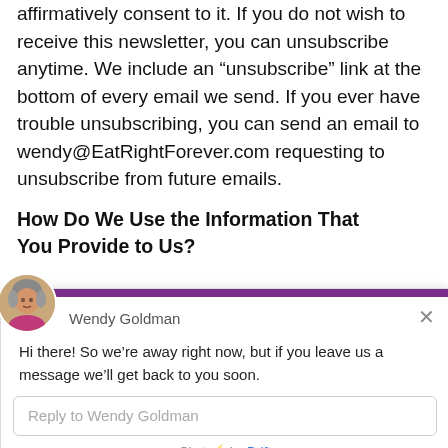affirmatively consent to it. If you do not wish to receive this newsletter, you can unsubscribe anytime. We include an “unsubscribe” link at the bottom of every email we send. If you ever have trouble unsubscribing, you can send an email to wendy@EatRightForever.com requesting to unsubscribe from future emails.
How Do We Use the Information That You Provide to Us?
[Figure (screenshot): Chat widget overlay from Drift showing Wendy Goldman avatar, name, away message, reply input box, and 'Chat by Drift' footer.]